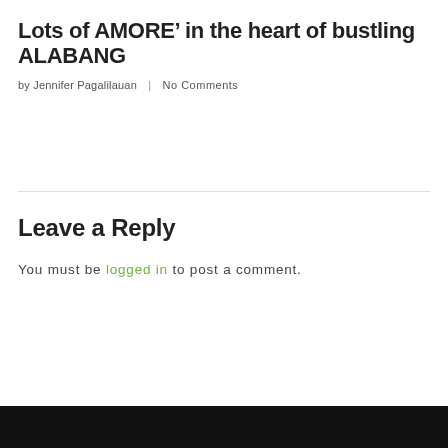Lots of AMORE’ in the heart of bustling ALABANG
by Jennifer Pagalilauan   |   No Comments
Leave a Reply
You must be logged in to post a comment.